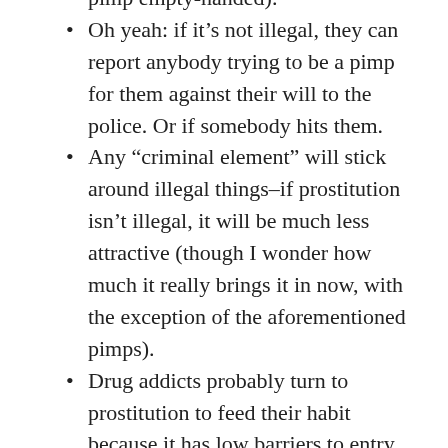pimp empty-handed).
Oh yeah: if it’s not illegal, they can report anybody trying to be a pimp for them against their will to the police. Or if somebody hits them.
Any “criminal element” will stick around illegal things–if prostitution isn’t illegal, it will be much less attractive (though I wonder how much it really brings it in now, with the exception of the aforementioned pimps).
Drug addicts probably turn to prostitution to feed their habit because it has low barriers to entry and crime tends to be concentrated in certain areas. Remove the criminality from prostitution, and there’s no reason it shouldn’t go where the johns are, rather than staying where network effects of criminality work in its favor–there’s no need for skilled criminals to be